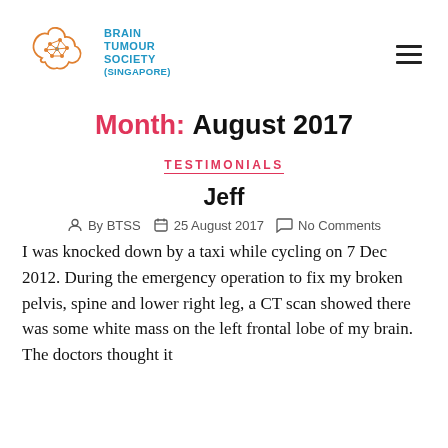[Figure (logo): Brain Tumour Society (Singapore) logo with brain network graphic and blue text]
Month: August 2017
TESTIMONIALS
Jeff
By BTSS   25 August 2017   No Comments
I was knocked down by a taxi while cycling on 7 Dec 2012. During the emergency operation to fix my broken pelvis, spine and lower right leg, a CT scan showed there was some white mass on the left frontal lobe of my brain. The doctors thought it